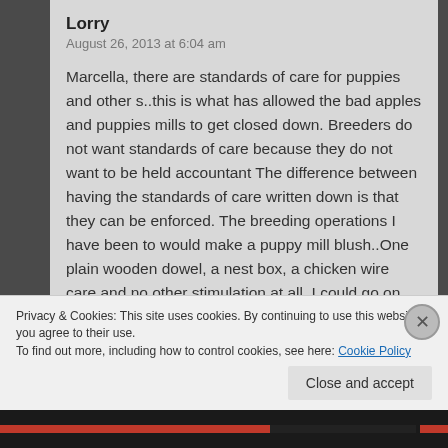Lorry
August 26, 2013 at 6:04 am
Marcella, there are standards of care for puppies and other s..this is what has allowed the bad apples and puppies mills to get closed down. Breeders do not want standards of care because they do not want to be held accountant The difference between having the standards of care written down is that they can be enforced. The breeding operations I have been to would make a puppy mill blush..One plain wooden dowel, a nest box, a chicken wire care and no other stimulation at all. I could go on but you get
Privacy & Cookies: This site uses cookies. By continuing to use this website, you agree to their use.
To find out more, including how to control cookies, see here: Cookie Policy
Close and accept